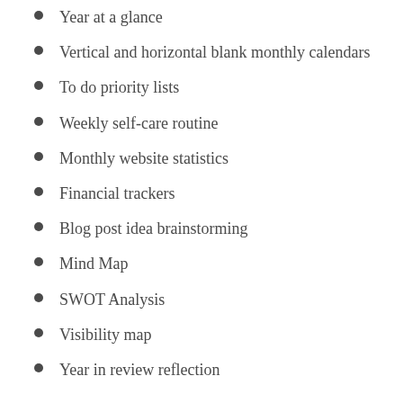Year at a glance
Vertical and horizontal blank monthly calendars
To do priority lists
Weekly self-care routine
Monthly website statistics
Financial trackers
Blog post idea brainstorming
Mind Map
SWOT Analysis
Visibility map
Year in review reflection